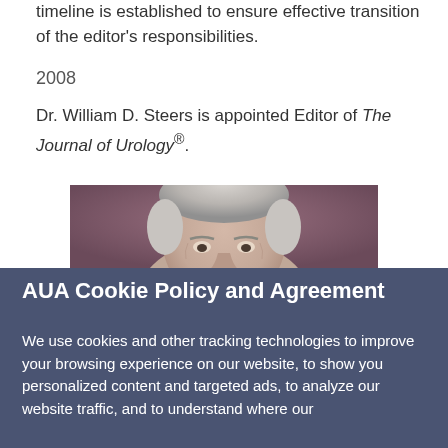timeline is established to ensure effective transition of the editor's responsibilities.
2008
Dr. William D. Steers is appointed Editor of The Journal of Urology®.
[Figure (photo): Portrait photograph of Dr. William D. Steers, an older man with gray hair, cropped to show head and upper face against a dark reddish-brown background.]
AUA Cookie Policy and Agreement
We use cookies and other tracking technologies to improve your browsing experience on our website, to show you personalized content and targeted ads, to analyze our website traffic, and to understand where our